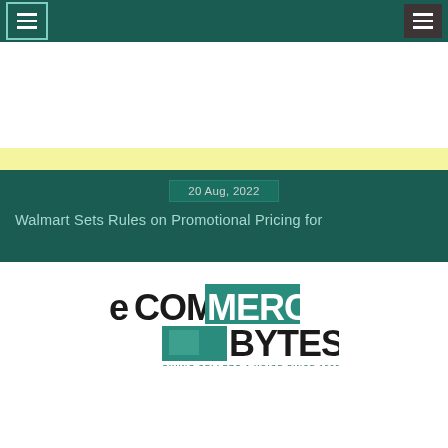Navigation bar with hamburger menu icons
20 Aug, 2022
Walmart Sets Rules on Promotional Pricing for
[Figure (logo): eCommerceBytes logo — eCOMMERCE in mixed teal and black with BYTES below, tagline GIVING SELLERS A VOICE SINCE 1999]